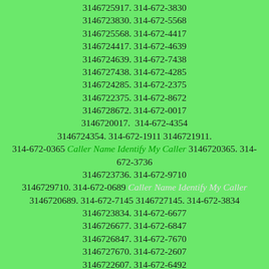3146725917. 314-672-3830 3146723830. 314-672-5568 3146725568. 314-672-4417 3146724417. 314-672-4639 3146724639. 314-672-7438 3146727438. 314-672-4285 3146724285. 314-672-2375 3146722375. 314-672-8672 3146728672. 314-672-0017 3146720017.  314-672-4354 3146724354. 314-672-1911 3146721911. 314-672-0365 Caller Name Identify My Caller 3146720365. 314-672-3736 3146723736. 314-672-9710 3146729710. 314-672-0689 Caller Name Identify My Caller 3146720689. 314-672-7145 3146727145. 314-672-3834 3146723834. 314-672-6677 3146726677. 314-672-6847 3146726847. 314-672-7670 3146727670. 314-672-2607 3146722607. 314-672-6492 3146726492. 314-672-9745 3146729745. 314-672-7970 3146727970. 314-672-9598